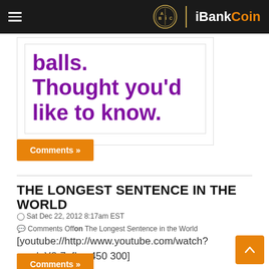iBankCoin
[Figure (screenshot): Advertisement or article image block with large purple bold text reading 'balls. Thought you'd like to know.' on white background with border]
Comments »
THE LONGEST SENTENCE IN THE WORLD
Sat Dec 22, 2012 8:17am EST
Comments Offon The Longest Sentence in the World
[youtube://http://www.youtube.com/watch?v=vdnY8r7_fLw 450 300]
Comments »